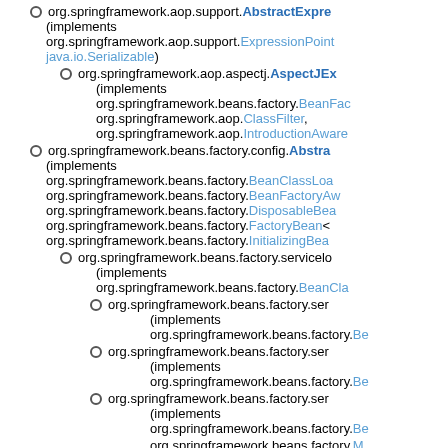org.springframework.aop.support.AbstractExpressionPointcut (implements org.springframework.aop.support.ExpressionPointcut, java.io.Serializable)
org.springframework.aop.aspectj.AspectJExpressionPointcut (implements org.springframework.beans.factory.BeanFactoryAware, org.springframework.aop.ClassFilter, org.springframework.aop.IntroductionAwareMethodMatcher)
org.springframework.beans.factory.config.AbstractFactoryBean (implements org.springframework.beans.factory.BeanClassLoaderAware, org.springframework.beans.factory.BeanFactoryAware, org.springframework.beans.factory.DisposableBean, org.springframework.beans.factory.FactoryBean<T>, org.springframework.beans.factory.InitializingBean)
org.springframework.beans.factory.serviceloader... (implements org.springframework.beans.factory.BeanClassLoaderAware)
org.springframework.beans.factory.ser... (implements org.springframework.beans.factory.Be...)
org.springframework.beans.factory.ser... (implements org.springframework.beans.factory.Be...)
org.springframework.beans.factory.ser... (implements org.springframework.beans.factory.Be...)